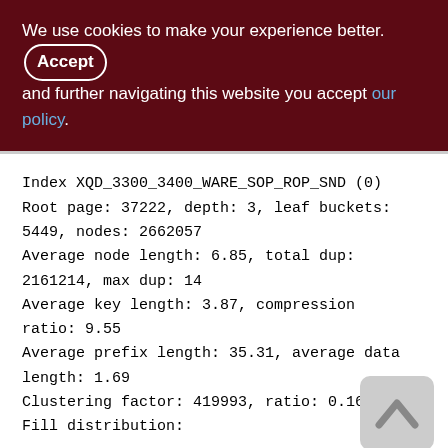We use cookies to make your experience better. By accepting and further navigating this website you accept our policy.
Index XQD_3300_3400_WARE_SOP_ROP_SND (0)
Root page: 37222, depth: 3, leaf buckets: 5449, nodes: 2662057
Average node length: 6.85, total dup: 2161214, max dup: 14
Average key length: 3.87, compression ratio: 9.55
Average prefix length: 35.31, average data length: 1.69
Clustering factor: 419993, ratio: 0.16
Fill distribution: